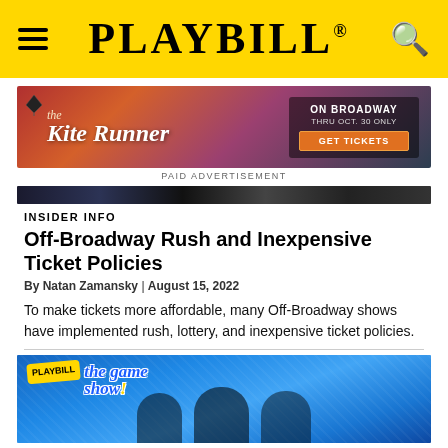PLAYBILL
[Figure (screenshot): Advertisement for The Kite Runner on Broadway, with text: ON BROADWAY, THRU OCT. 30 ONLY, GET TICKETS]
PAID ADVERTISEMENT
[Figure (photo): Dark horizontal photo strip, partial image of a stage performance]
INSIDER INFO
Off-Broadway Rush and Inexpensive Ticket Policies
By Natan Zamansky | August 15, 2022
To make tickets more affordable, many Off-Broadway shows have implemented rush, lottery, and inexpensive ticket policies.
[Figure (photo): Photo of Playbill The Game Show! with people on a sparkly blue-sequin backdrop]